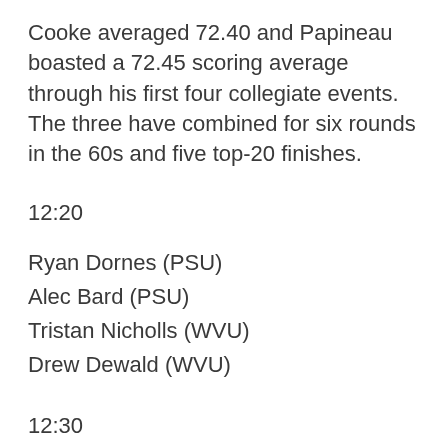Cooke averaged 72.40 and Papineau boasted a 72.45 scoring average through his first four collegiate events. The three have combined for six rounds in the 60s and five top-20 finishes.
12:20
Ryan Dornes (PSU)
Alec Bard (PSU)
Tristan Nicholls (WVU)
Drew Dewald (WVU)
12:30